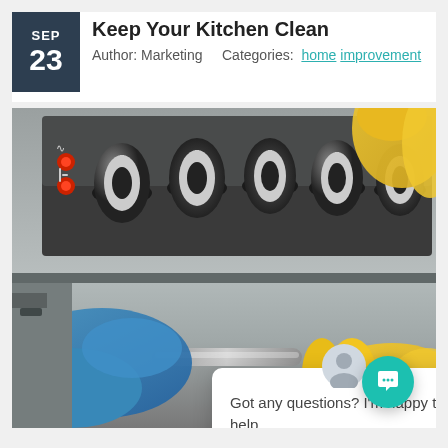Keep Your Kitchen Clean
Author: Marketing    Categories: home improvement
[Figure (photo): Close-up of a person wearing yellow rubber gloves cleaning a stainless steel oven with blue cloth, with oven knobs visible in the background. A chat popup overlay reads: Got any questions? I'm happy to help.]